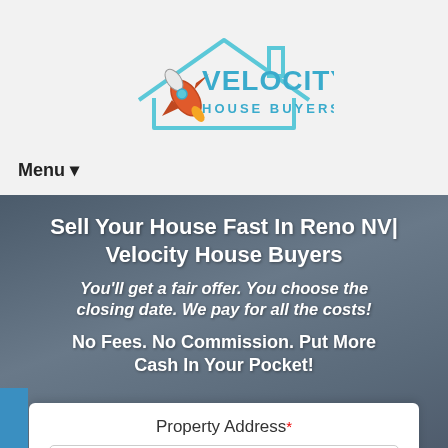[Figure (logo): Velocity House Buyers logo with rocket and house outline in blue and teal colors]
Menu ▾
Sell Your House Fast In Reno NV| Velocity House Buyers
You'll get a fair offer. You choose the closing date. We pay for all the costs!
No Fees. No Commission. Put More Cash In Your Pocket!
Property Address *
Enter Your Address